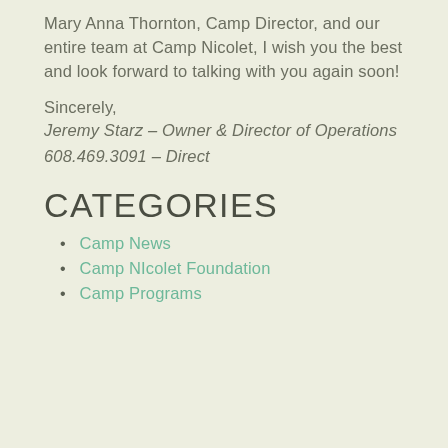Mary Anna Thornton, Camp Director, and our entire team at Camp Nicolet, I wish you the best and look forward to talking with you again soon!
Sincerely,
Jeremy Starz – Owner & Director of Operations
608.469.3091 – Direct
CATEGORIES
Camp News
Camp NIcolet Foundation
Camp Programs